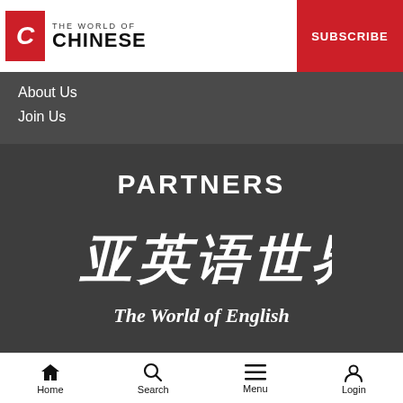THE WORLD OF CHINESE | SUBSCRIBE
About Us
Join Us
PARTNERS
[Figure (logo): The World of English partner logo with Chinese calligraphy characters and English subtitle]
Home | Search | Menu | Login